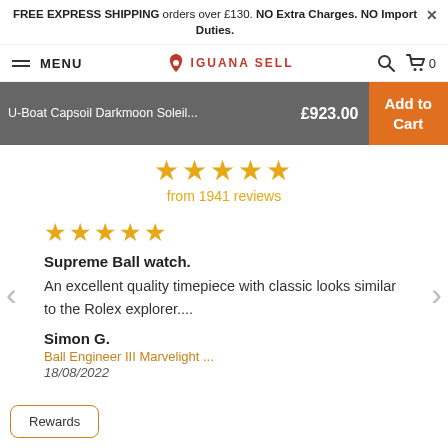FREE EXPRESS SHIPPING orders over £130. NO Extra Charges. NO Import Duties.
MENU | IGUANA SELL | search | cart 0
U-Boat Capsoil Darkmoon Soleil... £923.00 Add to Cart
★★★★★ from 1941 reviews
★★★★★
Supreme Ball watch. An excellent quality timepiece with classic looks similar to the Rolex explorer....
Simon G.
Ball Engineer III Marvelight ...
18/08/2022
Rewards